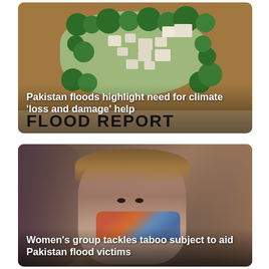[Figure (photo): Aerial view of flooded village with buildings and green trees surrounded by brown flood water]
Pakistan floods highlight need for climate 'loss and damage' help
FLOOD REPORT
[Figure (photo): Close-up photo of three children, a girl in the center wearing floral clothing, looking at the camera]
Women's group tackles taboo subject to aid Pakistan flood victims